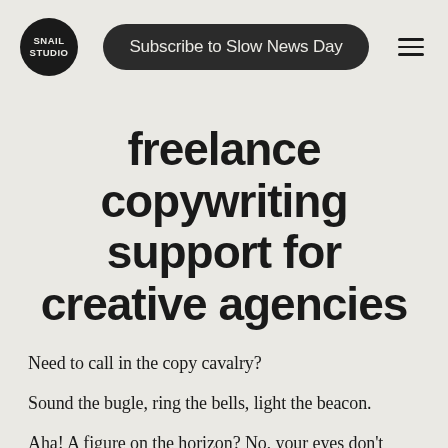SNAIL STUDIO | Subscribe to Slow News Day
freelance copywriting support for creative agencies
Need to call in the copy cavalry?
Sound the bugle, ring the bells, light the beacon.
Aha! A figure on the horizon? No, your eyes don't deceive you… That's a gastropod, not a horse.